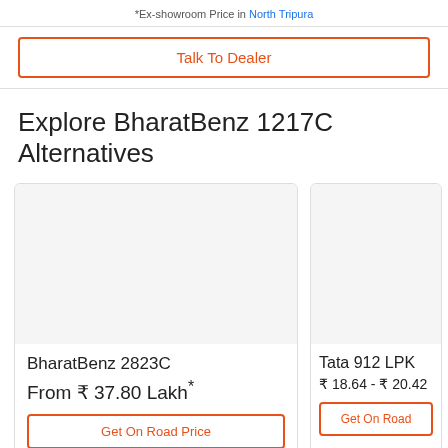*Ex-showroom Price in North Tripura
Talk To Dealer
Explore BharatBenz 1217C Alternatives
[Figure (other): BharatBenz 2823C car image placeholder (gray background)]
BharatBenz 2823C
From ₹ 37.80 Lakh*
Get On Road Price
[Figure (other): Tata 912 LPK car image placeholder (gray background)]
Tata 912 LPK
₹ 18.64 - ₹ 20.42
Get On Road